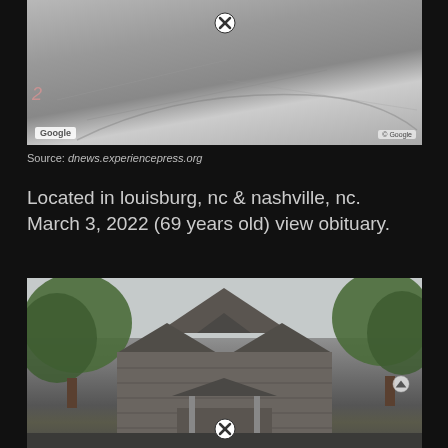[Figure (photo): Google Street View image of a road/pavement surface viewed from above, with Google logo watermark and copyright notice]
Source: dnews.experiencepress.org
Located in louisburg, nc & nashville, nc. March 3, 2022 (69 years old) view obituary.
[Figure (photo): Google Street View image of a house with dark brown/grey roof and gable peaks, trees on left and right sides, overcast sky]